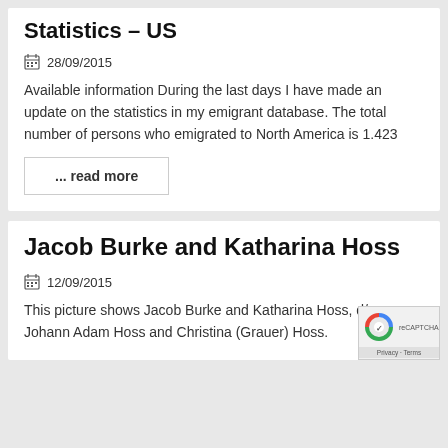Statistics – US
28/09/2015
Available information During the last days I have made an update on the statistics in my emigrant database. The total number of persons who emigrated to North America is 1.423
... read more
Jacob Burke and Katharina Hoss
12/09/2015
This picture shows Jacob Burke and Katharina Hoss, d/o Johann Adam Hoss and Christina (Grauer) Hoss.